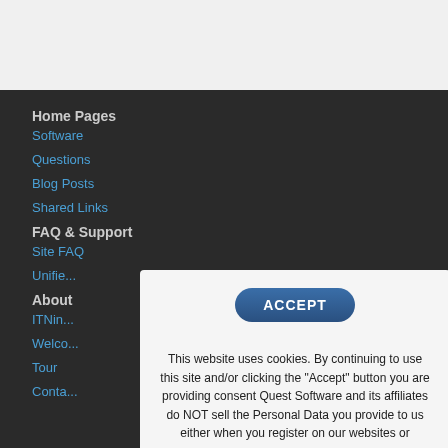Home Pages
Software
Questions
Blog Posts
Shared Links
FAQ & Support
Site FAQ
Unifie...
About
ITNin...
Welco...
Tour
Conta...
ACCEPT
This website uses cookies. By continuing to use this site and/or clicking the "Accept" button you are providing consent Quest Software and its affiliates do NOT sell the Personal Data you provide to us either when you register on our websites or